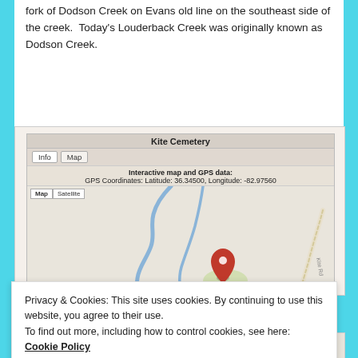fork of Dodson Creek on Evans old line on the southeast side of the creek.  Today's Louderback Creek was originally known as Dodson Creek.
[Figure (map): Screenshot of an interactive cemetery map widget showing 'Kite Cemetery' with GPS Coordinates: Latitude: 36.34500, Longitude: -82.97560. Map view with a creek/river path, road labeled 'Kite Rd', and a red map pin marker indicating the cemetery location.]
Privacy & Cookies: This site uses cookies. By continuing to use this website, you agree to their use.
To find out more, including how to control cookies, see here: Cookie Policy
Close and accept